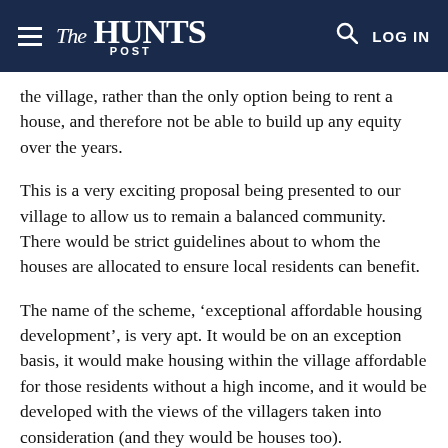The Hunts Post
the village, rather than the only option being to rent a house, and therefore not be able to build up any equity over the years.
This is a very exciting proposal being presented to our village to allow us to remain a balanced community. There would be strict guidelines about to whom the houses are allocated to ensure local residents can benefit.
The name of the scheme, ‘exceptional affordable housing development’, is very apt. It would be on an exception basis, it would make housing within the village affordable for those residents without a high income, and it would be developed with the views of the villagers taken into consideration (and they would be houses too).